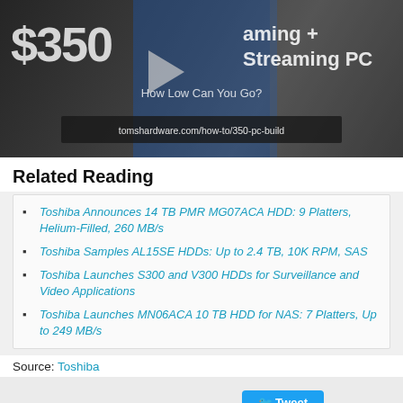[Figure (screenshot): $350 Gaming + Streaming PC - How Low Can You Go? thumbnail image with tomshardware.com/how-to/350-pc-build URL overlay]
Related Reading
Toshiba Announces 14 TB PMR MG07ACA HDD: 9 Platters, Helium-Filled, 260 MB/s
Toshiba Samples AL15SE HDDs: Up to 2.4 TB, 10K RPM, SAS
Toshiba Launches S300 and V300 HDDs for Surveillance and Video Applications
Toshiba Launches MN06ACA 10 TB HDD for NAS: 7 Platters, Up to 249 MB/s
Source: Toshiba